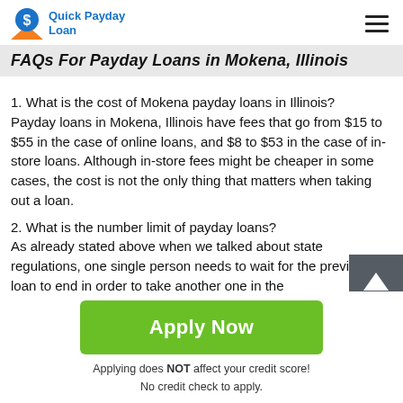Quick Payday Loan
FAQs For Payday Loans in Mokena, Illinois
1. What is the cost of Mokena payday loans in Illinois?
Payday loans in Mokena, Illinois have fees that go from $15 to $55 in the case of online loans, and $8 to $53 in the case of in-store loans. Although in-store fees might be cheaper in some cases, the cost is not the only thing that matters when taking out a loan.
2. What is the number limit of payday loans?
As already stated above when we talked about state regulations, one single person needs to wait for the previous loan to end in order to take another one in the
Apply Now
Applying does NOT affect your credit score!
No credit check to apply.